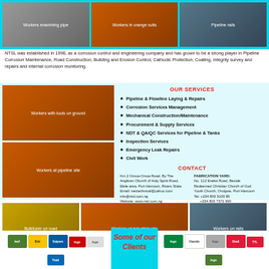[Figure (photo): Top strip with three photos: workers examining pipe, workers in orange suits, pipeline/rails]
NTSL was established in 1998, as a corrosion control and engineering company and has grown to be a strong player in Pipeline Corrosion Maintenance, Road Construction, Building and Erosion Control, Cathodic Protection, Coating, integrity survey and repairs and internal corrosion monitoring.
[Figure (photo): Two photos on left: workers with tools on ground, workers at pipeline installation site]
OUR SERVICES
Pipeline & Flowline Laying & Repairs
Corrosion Services Management
Mechanical Construction/Maintenance
Procurement & Supply Services
NDT & QA/QC Services for Pipeline & Tanks
Inspection Services
Emergency Leak Repairs
Civil Work
CONTACT
Km 2 Omoa-Omoa Road, By The Anglican Church of Holy Spirit Road, Elele area, Port Harcourt, Rivers State. Email: nectechnical@yahoo.com info@ntsl.com.ng Website: www.ntsl.com.ng | FABRICATION YARD: No. 112 Eneka Road, Beside Redeemed Christian Church of God Youth Church, Oroigwe, Port Harcourt Tel: +234 803 3103 85 +234 803 7372 990
[Figure (photo): Bottom strip with three photos: bulldozer on road, workers at industrial/pipeline site, workers on rails]
[Figure (logo): Client logos left side: leaf logo, Eni, Saipem, and other logos]
Some of our Clients
[Figure (logo): Client logos right side: Oando, Shell, TTL and other company logos]